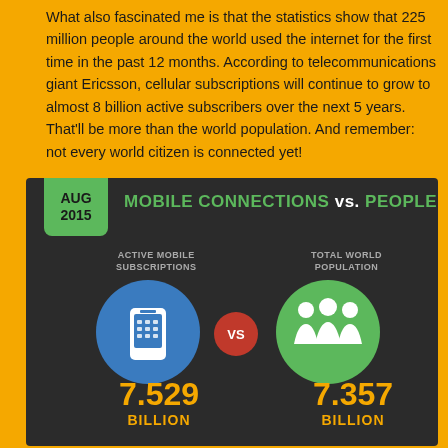What also fascinated me is that the statistics show that 225 million people around the world used the internet for the first time in the past 12 months. According to telecommunications giant Ericsson, cellular subscriptions will continue to grow to almost 8 billion active subscribers over the next 5 years. That'll be more than the world population. And remember: not every world citizen is connected yet!
[Figure (infographic): Infographic titled 'MOBILE CONNECTIONS vs. PEOPLE' dated AUG 2015. Shows Active Mobile Subscriptions (7.529 Billion) represented by a phone icon in a blue circle vs Total World Population (7.357 Billion) represented by people icons in a green circle, with a red VS badge in the middle.]